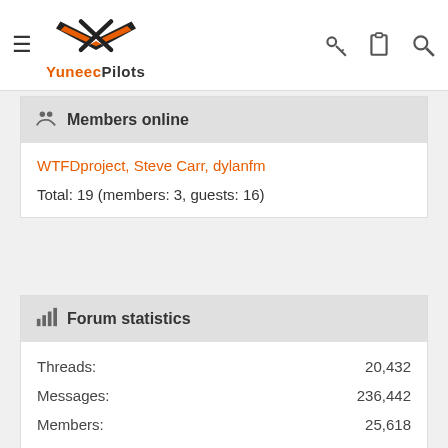YuneecPilots
Members online
WTFDproject, Steve Carr, dylanfm
Total: 19 (members: 3, guests: 16)
Forum statistics
Threads: 20,432
Messages: 236,442
Members: 25,618
Latest member: Julson20
Q500/Typhoon Discussion
About Us